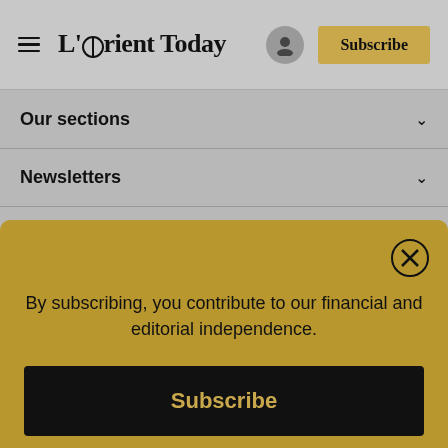L'Orient Today — Subscribe
Our sections
Newsletters
Subscriptions
Subscribe and support L'Orient Today
By subscribing, you contribute to our financial and editorial independence.
Subscribe
Already have an account? Log in